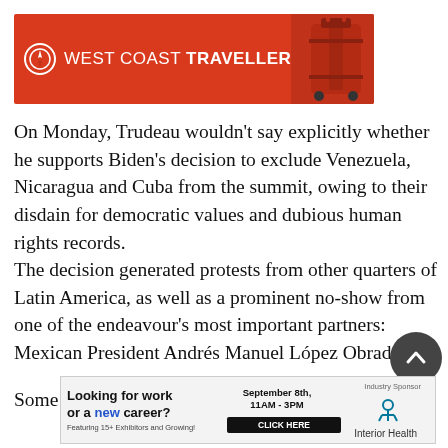[Figure (logo): West Coast Traveller red banner logo with luggage icon on right]
On Monday, Trudeau wouldn’t say explicitly whether he supports Biden’s decision to exclude Venezuela, Nicaragua and Cuba from the summit, owing to their disdain for democratic values and dubious human rights records.
The decision generated protests from other quarters of Latin America, as well as a prominent no-show from one of the endeavour’s most important partners: Mexican President Andrés Manuel López Obrador.
Some of the hemisphere’s countries are “less like-minded”
[Figure (infographic): Advertisement: Looking for work or a new career? September 8th, 11AM-3PM, Featuring 15+ Exhibitors and Growing! CLICK HERE. Industry Sponsor: Interior Health]